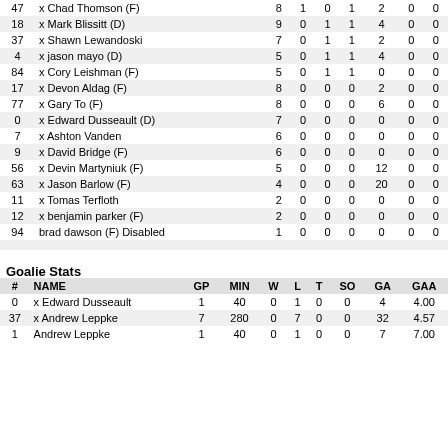| # | NAME | GP | G | A | PTS | PIM | PP | SH |
| --- | --- | --- | --- | --- | --- | --- | --- | --- |
| 47 | x Chad Thomson (F) | 8 | 1 | 0 | 1 | 2 | 0 | 0 |
| 18 | x Mark Blissitt (D) | 9 | 0 | 1 | 1 | 4 | 0 | 0 |
| 37 | x Shawn Lewandoski | 7 | 0 | 1 | 1 | 2 | 0 | 0 |
| 4 | x jason mayo (D) | 5 | 0 | 1 | 1 | 4 | 0 | 0 |
| 84 | x Cory Leishman (F) | 5 | 0 | 1 | 1 | 0 | 0 | 0 |
| 17 | x Devon Aldag (F) | 8 | 0 | 0 | 0 | 2 | 0 | 0 |
| 77 | x Gary To (F) | 8 | 0 | 0 | 0 | 6 | 0 | 0 |
| 0 | x Edward Dusseault (D) | 7 | 0 | 0 | 0 | 0 | 0 | 0 |
| 7 | x Ashton Vanden | 6 | 0 | 0 | 0 | 0 | 0 | 0 |
| 9 | x David Bridge (F) | 6 | 0 | 0 | 0 | 0 | 0 | 0 |
| 56 | x Devin Martyniuk (F) | 5 | 0 | 0 | 0 | 12 | 0 | 0 |
| 63 | x Jason Barlow (F) | 4 | 0 | 0 | 0 | 20 | 0 | 0 |
| 11 | x Tomas Terfloth | 2 | 0 | 0 | 0 | 0 | 0 | 0 |
| 12 | x benjamin parker (F) | 2 | 0 | 0 | 0 | 0 | 0 | 0 |
| 94 | brad dawson (F) Disabled | 1 | 0 | 0 | 0 | 0 | 0 | 0 |
Goalie Stats
| # | NAME | GP | MIN | W | L | T | SO | GA | GAA |
| --- | --- | --- | --- | --- | --- | --- | --- | --- | --- |
| 0 | x Edward Dusseault | 1 | 40 | 0 | 1 | 0 | 0 | 4 | 4.00 |
| 37 | x Andrew Leppke | 7 | 280 | 0 | 7 | 0 | 0 | 32 | 4.57 |
| 1 | Andrew Leppke | 1 | 40 | 0 | 1 | 0 | 0 | 7 | 7.00 |